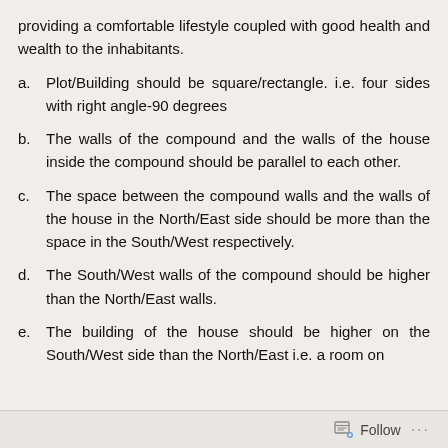providing a comfortable lifestyle coupled with good health and wealth to the inhabitants.
a. Plot/Building should be square/rectangle. i.e. four sides with right angle-90 degrees
b. The walls of the compound and the walls of the house inside the compound should be parallel to each other.
c. The space between the compound walls and the walls of the house in the North/East side should be more than the space in the South/West respectively.
d. The South/West walls of the compound should be higher than the North/East walls.
e. The building of the house should be higher on the South/West side than the North/East i.e. a room on
Follow ...